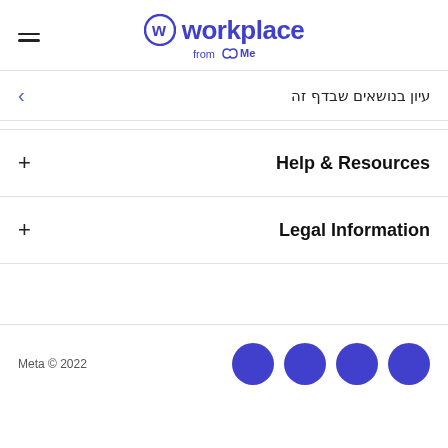[Figure (logo): Workplace from Meta logo with hamburger menu icon on the left]
עיון בנושאים שבדף זה
+ Help & Resources
+ Legal Information
Meta © 2022